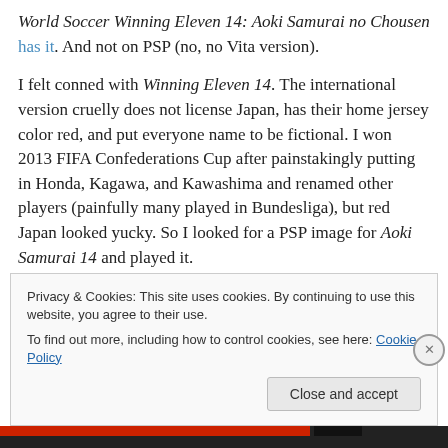World Soccer Winning Eleven 14: Aoki Samurai no Chousen has it. And not on PSP (no, no Vita version).
I felt conned with Winning Eleven 14. The international version cruelly does not license Japan, has their home jersey color red, and put everyone name to be fictional. I won 2013 FIFA Confederations Cup after painstakingly putting in Honda, Kagawa, and Kawashima and renamed other players (painfully many played in Bundesliga), but red Japan looked yucky. So I looked for a PSP image for Aoki Samurai 14 and played it.
Privacy & Cookies: This site uses cookies. By continuing to use this website, you agree to their use.
To find out more, including how to control cookies, see here: Cookie Policy
Close and accept